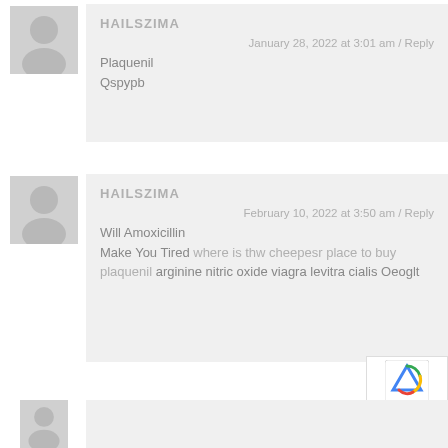HAILSZIMA
January 28, 2022 at 3:01 am / Reply
Plaquenil
Qspypb
HAILSZIMA
February 10, 2022 at 3:50 am / Reply
Will Amoxicillin Make You Tired where is thw cheepesr place to buy plaquenil arginine nitric oxide viagra levitra cialis Oeoglt